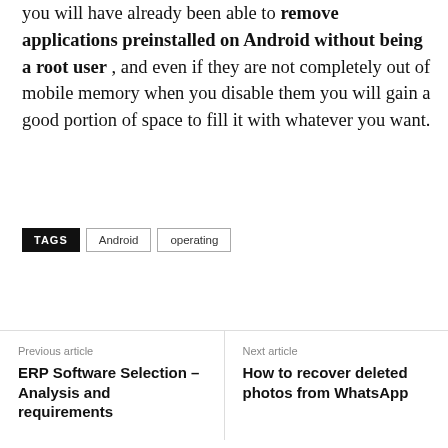you will have already been able to remove applications preinstalled on Android without being a root user , and even if they are not completely out of mobile memory when you disable them you will gain a good portion of space to fill it with whatever you want.
TAGS   Android   operating
Previous article
ERP Software Selection – Analysis and requirements
Next article
How to recover deleted photos from WhatsApp